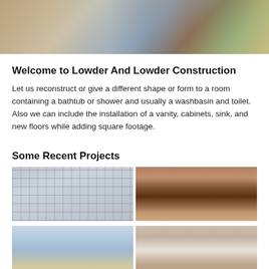[Figure (photo): Banner photo showing a bathroom/construction scene with windows, wooden ladder, stone wall, and tiled surfaces]
Welcome to Lowder And Lowder Construction
Let us reconstruct or give a different shape or form to a room containing a bathtub or shower and usually a washbasin and toilet. Also we can include the installation of a vanity, cabinets, sink, and new floors while adding square footage.
Some Recent Projects
[Figure (photo): Glass block shower wall installation]
[Figure (photo): Kitchen with wood cabinets, granite backsplash, and sink]
[Figure (photo): Bathroom interior under construction or renovation]
[Figure (photo): Vanity area with cabinets and counter]